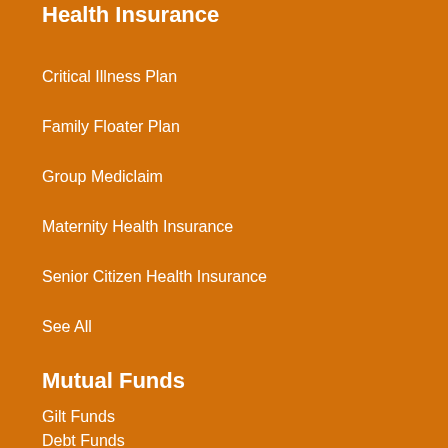Health Insurance
Critical Illness Plan
Family Floater Plan
Group Mediclaim
Maternity Health Insurance
Senior Citizen Health Insurance
See All
Mutual Funds
Gilt Funds
Debt Funds